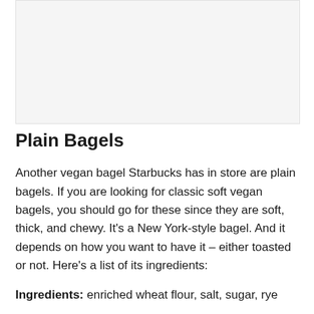[Figure (photo): Image placeholder area at top of page (light gray rectangle, appears to be a photo of plain bagels)]
Plain Bagels
Another vegan bagel Starbucks has in store are plain bagels. If you are looking for classic soft vegan bagels, you should go for these since they are soft, thick, and chewy. It's a New York-style bagel. And it depends on how you want to have it – either toasted or not. Here's a list of its ingredients:
Ingredients: enriched wheat flour, salt, sugar, rye